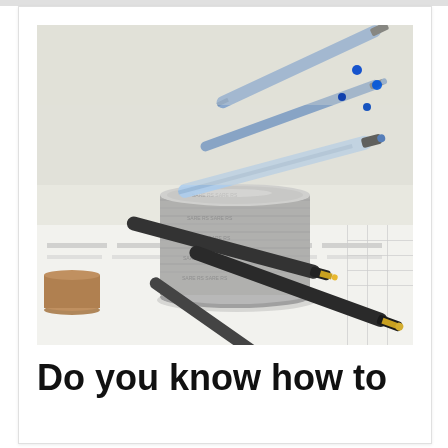[Figure (photo): Stack of silver coins and multiple blue and black ballpoint pens scattered on a financial document with printed text columns, shot from a close-up angle with shallow depth of field.]
Do you know how to